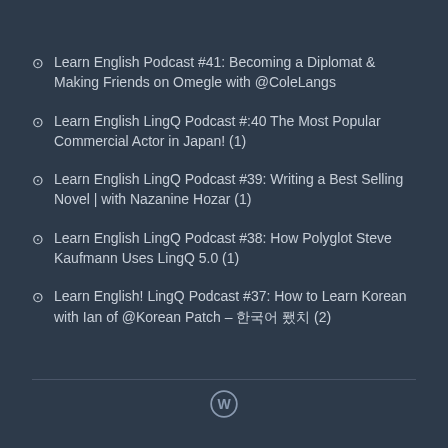Learn English Podcast #41: Becoming a Diplomat & Making Friends on Omegle with @ColeLangs
Learn English LingQ Podcast #:40 The Most Popular Commercial Actor in Japan! (1)
Learn English LingQ Podcast #39: Writing a Best Selling Novel | with Nazanine Hozar (1)
Learn English LingQ Podcast #38: How Polyglot Steve Kaufmann Uses LingQ 5.0 (1)
Learn English! LingQ Podcast #37: How to Learn Korean with Ian of @Korean Patch – 한국어 패치 (2)
WordPress logo